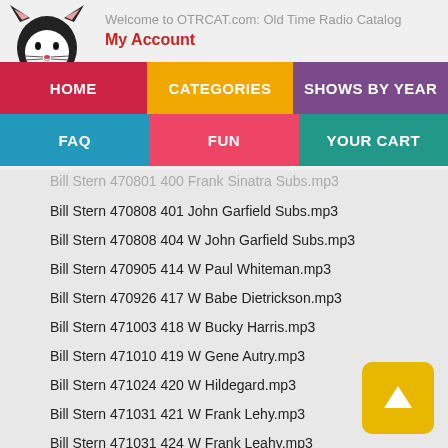Welcome to OTRCAT.com: Old Time Radio Catalog
My Account
Bill Stern 470801 400 Frank Sinatra Subs.mp3
Bill Stern 470808 401 John Garfield Subs.mp3
Bill Stern 470808 404 W John Garfield Subs.mp3
Bill Stern 470905 414 W Paul Whiteman.mp3
Bill Stern 470926 417 W Babe Dietrickson.mp3
Bill Stern 471003 418 W Bucky Harris.mp3
Bill Stern 471010 419 W Gene Autry.mp3
Bill Stern 471024 420 W Hildegard.mp3
Bill Stern 471031 421 W Frank Lehy.mp3
Bill Stern 471031 424 W Frank Leahy.mp3
Bill Stern 480102 431 W Ronald Reagan.mp3
Bill Stern 480109 432.mp3
Bill Stern 480402 444 W Jack Dempsy.mp3